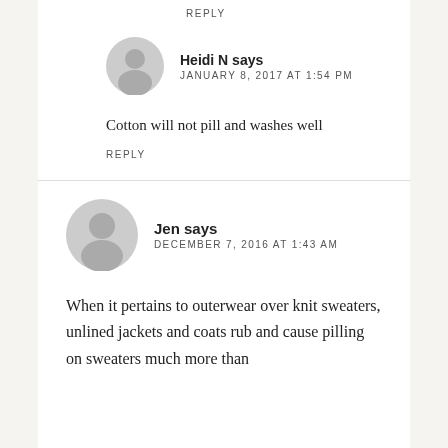REPLY
Heidi N says
JANUARY 8, 2017 AT 1:54 PM
Cotton will not pill and washes well
REPLY
Jen says
DECEMBER 7, 2016 AT 1:43 AM
When it pertains to outerwear over knit sweaters, unlined jackets and coats rub and cause pilling on sweaters much more than